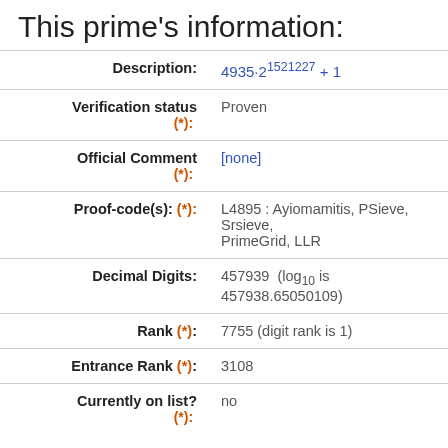This prime's information:
| Field | Value |
| --- | --- |
| Description: | 4935·2^1521227 + 1 |
| Verification status (*): | Proven |
| Official Comment (*): | [none] |
| Proof-code(s) (*): | L4895 : Ayiomamitis, PSieve, Srsieve, PrimeGrid, LLR |
| Decimal Digits: | 457939  (log10 is 457938.65050109) |
| Rank (*): | 7755 (digit rank is 1) |
| Entrance Rank (*): | 3108 |
| Currently on list? (*): | no |